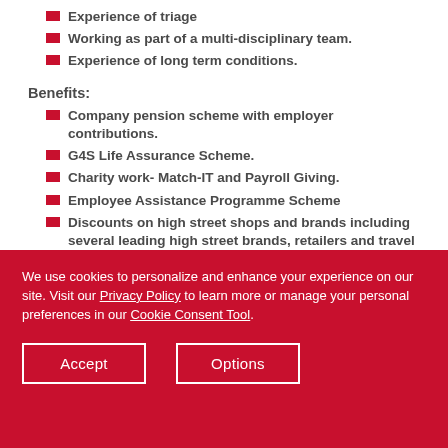Experience of triage
Working as part of a multi-disciplinary team.
Experience of long term conditions.
Benefits:
Company pension scheme with employer contributions.
G4S Life Assurance Scheme.
Charity work- Match-IT and Payroll Giving.
Employee Assistance Programme Scheme
Discounts on high street shops and brands including several leading high street brands, retailers and travel suppliers.
Progression, training and development opportunities.
This role requires the ability to work with vulnerable people in a caring and compassionate way. A DBS check and relevant police/ prison clearance will be required to exclude any individuals with a history of
We use cookies to personalize and enhance your experience on our site. Visit our Privacy Policy to learn more or manage your personal preferences in our Cookie Consent Tool.